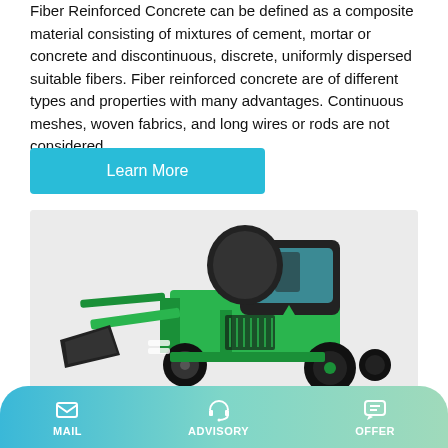Fiber Reinforced Concrete can be defined as a composite material consisting of mixtures of cement, mortar or concrete and discontinuous, discrete, uniformly dispersed suitable fibers. Fiber reinforced concrete are of different types and properties with many advantages. Continuous meshes, woven fabrics, and long wires or rods are not considered
Learn More
[Figure (photo): Green self-loading concrete mixer machine with black cab, front bucket loader attachment, and large rubber tires, on a light gray background.]
MAIL   ADVISORY   OFFER